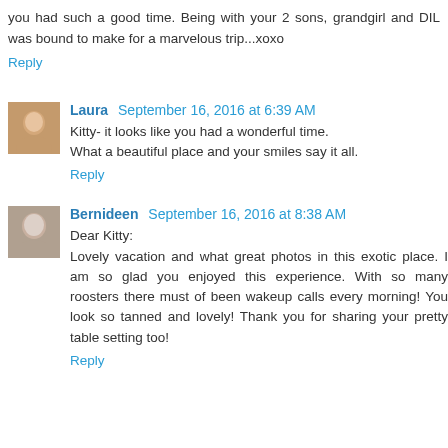you had such a good time. Being with your 2 sons, grandgirl and DIL was bound to make for a marvelous trip...xoxo
Reply
Laura  September 16, 2016 at 6:39 AM
Kitty- it looks like you had a wonderful time.
What a beautiful place and your smiles say it all.
Reply
Bernideen  September 16, 2016 at 8:38 AM
Dear Kitty:
Lovely vacation and what great photos in this exotic place. I am so glad you enjoyed this experience. With so many roosters there must of been wakeup calls every morning! You look so tanned and lovely! Thank you for sharing your pretty table setting too!
Reply